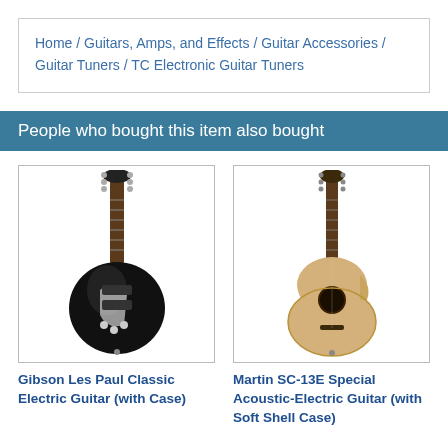Home / Guitars, Amps, and Effects / Guitar Accessories / Guitar Tuners / TC Electronic Guitar Tuners
People who bought this item also bought
[Figure (photo): Photo of a black Gibson Les Paul Classic Electric Guitar]
Gibson Les Paul Classic Electric Guitar (with Case)
[Figure (photo): Photo of a natural wood Martin SC-13E Special Acoustic-Electric Guitar]
Martin SC-13E Special Acoustic-Electric Guitar (with Soft Shell Case)